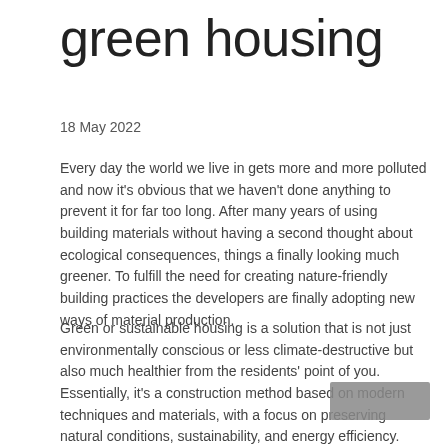green housing
18 May 2022
Every day the world we live in gets more and more polluted and now it's obvious that we haven't done anything to prevent it for far too long. After many years of using building materials without having a second thought about ecological consequences, things a finally looking much greener. To fulfill the need for creating nature-friendly building practices the developers are finally adopting new ways of material production.
Green or sustainable housing is a solution that is not just environmentally conscious or less climate-destructive but also much healthier from the residents' point of you. Essentially, it's a construction method based on modern techniques and materials, with a focus on preserving natural conditions, sustainability, and energy efficiency. Although it might sound rather expensive, the final product should